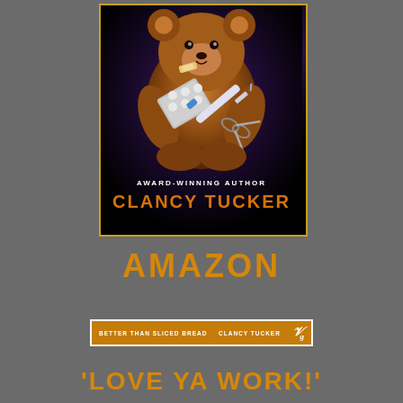[Figure (illustration): Book cover showing a teddy bear with medical paraphernalia (syringes, pills, scissors) on a dark background, with text 'AWARD-WINNING AUTHOR' and 'CLANCY TUCKER']
AMAZON
[Figure (other): Orange banner bar with text: 'BETTER THAN SLICED BREAD   CLANCY TUCKER' and a logo/icon on the right]
'LOVE YA WORK!'